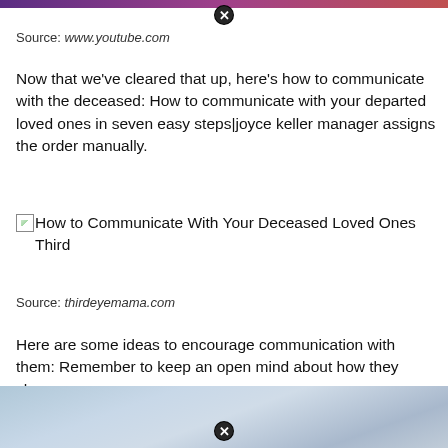[Figure (other): Dark purple/maroon gradient banner at top of page]
[Figure (other): Close/X button circle icon at top center]
Source: www.youtube.com
Now that we’ve cleared that up, here’s how to communicate with the deceased: How to communicate with your departed loved ones in seven easy steps|joyce keller manager assigns the order manually.
[Figure (photo): Broken image placeholder with alt text: How to Communicate With Your Deceased Loved Ones Third]
Source: thirdeyemama.com
Here are some ideas to encourage communication with them: Remember to keep an open mind about how they show you.
[Figure (photo): Blue-grey blurred background image at bottom of page with close/X button overlay]